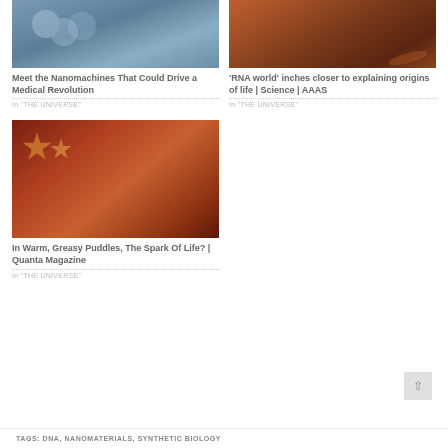[Figure (photo): Blue-toned microscopic image of nanomachines or cells]
Meet the Nanomachines That Could Drive a Medical Revolution
In "THE UNIVERSE"
[Figure (photo): Reddish-brown image of mushrooms or organic structures at sunset]
'RNA world' inches closer to explaining origins of life | Science | AAAS
In "THE UNIVERSE"
[Figure (photo): Dark red background with golden molecular/chemical structures]
In Warm, Greasy Puddles, The Spark Of Life? | Quanta Magazine
In "THE UNIVERSE"
TAGS: DNA, NANOMATERIALS, SYNTHETIC BIOLOGY